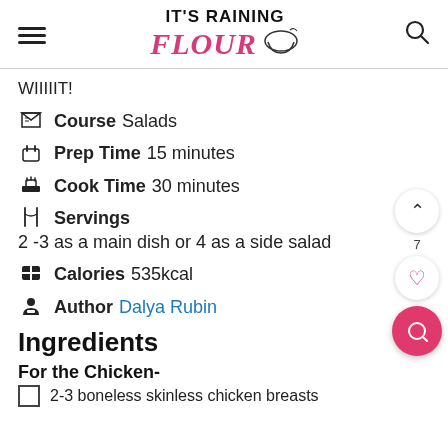IT'S RAINING FLOUR
WIIIIIT!
Course  Salads
Prep Time  15 minutes
Cook Time  30 minutes
Servings  2 -3 as a main dish or 4 as a side salad
Calories  535kcal
Author  Dalya Rubin
Ingredients
For the Chicken-
2-3 boneless skinless chicken breasts